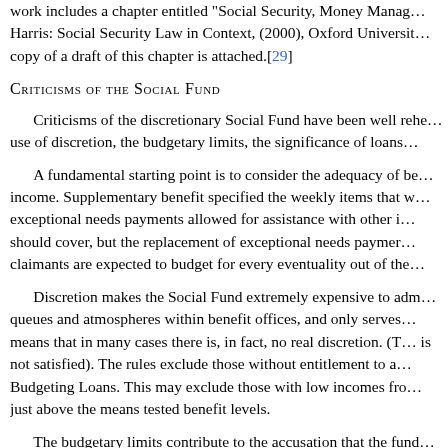work includes a chapter entitled "Social Security, Money Manag... Harris: Social Security Law in Context, (2000), Oxford Universit... copy of a draft of this chapter is attached.[29]
Criticisms of the Social Fund
Criticisms of the discretionary Social Fund have been well rehe... use of discretion, the budgetary limits, the significance of loans...
A fundamental starting point is to consider the adequacy of be... income. Supplementary benefit specified the weekly items that w... exceptional needs payments allowed for assistance with other i... should cover, but the replacement of exceptional needs paymer... claimants are expected to budget for every eventuality out of the...
Discretion makes the Social Fund extremely expensive to adm... queues and atmospheres within benefit offices, and only serves... means that in many cases there is, in fact, no real discretion. (T... is not satisfied). The rules exclude those without entitlement to a... Budgeting Loans. This may exclude those with low incomes fro... just above the means tested benefit levels.
The budgetary limits contribute to the accusation that the fund... part by when an application is made and in part by where it is m...
The number of applications suggests that people do want to be... low income will often try to borrow from family and friends, a So... way to purchase essential items without which social exclusion ... private sector loans with unacceptably high rates of interest, an... well contribute to fraud. There is a real concern about the rates...